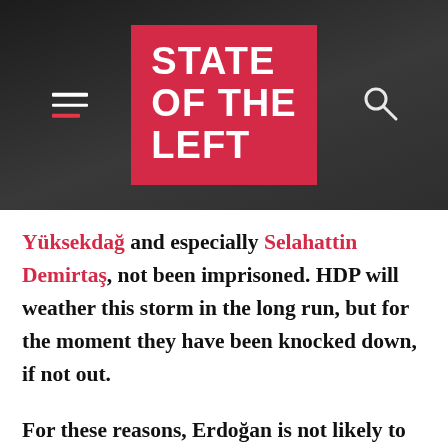STATE OF THE LEFT
Yüksekdağ and especially Selahattin Demirtaş, not been imprisoned. HDP will weather this storm in the long run, but for the moment they have been knocked down, if not out.
For these reasons, Erdoğan is not likely to face a serious challenge from the left, given that the centre-left party, CHP, is itching to support a right-wing candidate in the next presidential elections, and the radical left HDP is being persecuted by the state. None of this may not